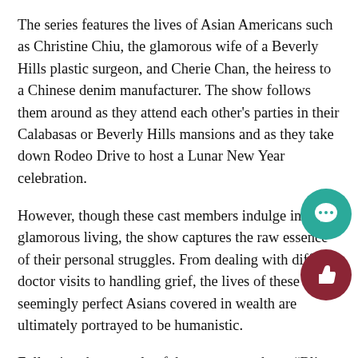The series features the lives of Asian Americans such as Christine Chiu, the glamorous wife of a Beverly Hills plastic surgeon, and Cherie Chan, the heiress to a Chinese denim manufacturer. The show follows them around as they attend each other's parties in their Calabasas or Beverly Hills mansions and as they take down Rodeo Drive to host a Lunar New Year celebration.
However, though these cast members indulge in a glamorous living, the show captures the raw essence of their personal struggles. From dealing with difficult doctor visits to handling grief, the lives of these seemingly perfect Asians covered in wealth are ultimately portrayed to be humanistic.
Following the struggle of these cast members, “Bling Empire” takes one on an emotional whirlwind as the scene of a difficult doctor’s appointment quickly shifts to a party with one wa… per person.
Ultimately, as “Bling Empire” unveils the laughs and tears of Asian Americans, the extent to which this show can represent…